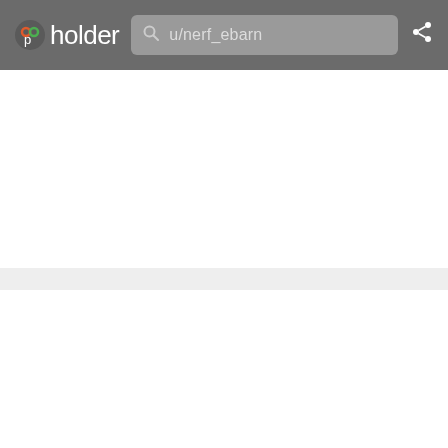pholder — search: u/nerf_ebarn